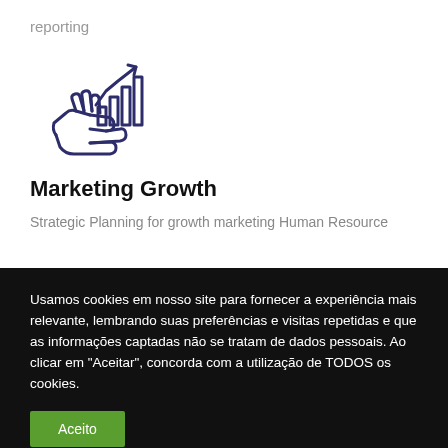reporting
[Figure (illustration): Icon of a hand holding a bar chart with an upward trending arrow, drawn in dark navy/indigo outline style]
Marketing Growth
Strategic Planning for growth marketing Human Resource
Usamos cookies em nosso site para fornecer a experiência mais relevante, lembrando suas preferências e visitas repetidas e que as informações captadas não se tratam de dados pessoais. Ao clicar em "Aceitar", concorda com a utilização de TODOS os cookies.
Aceito